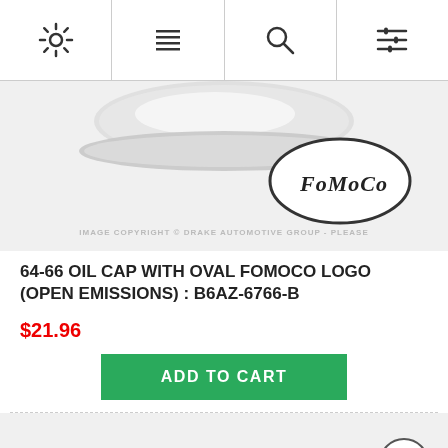[Figure (screenshot): Top navigation bar with four icons: gear/settings, menu/list, search (magnifying glass), and filter/sliders icons]
[Figure (photo): Close-up photo of a chrome oil cap with oval FoMoCo logo on top. Watermark reads: IMAGE COPYRIGHT © DRAKE AUTOMOTIVE GROUP - PLEASE]
64-66 OIL CAP WITH OVAL FOMOCO LOGO (OPEN EMISSIONS) : B6AZ-6766-B
$21.96
ADD TO CART
[Figure (photo): Bottom portion of another product image partially visible]